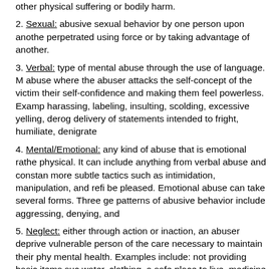other physical suffering or bodily harm.
2. Sexual: abusive sexual behavior by one person upon another perpetrated using force or by taking advantage of another.
3. Verbal: type of mental abuse through the use of language. abuse where the abuser attacks the self-concept of the victim their self-confidence and making them feel powerless. Examples: harassing, labeling, insulting, scolding, excessive yelling, derog delivery of statements intended to fright, humiliate, denigrate
4. Mental/Emotional: any kind of abuse that is emotional rather physical. It can include anything from verbal abuse and constan more subtle tactics such as intimidation, manipulation, and ref be pleased. Emotional abuse can take several forms. Three ge patterns of abusive behavior include aggressing, denying, and
5. Neglect: either through action or inaction, an abuser deprive vulnerable person of the care necessary to maintain their phy mental health. Examples include: not providing basic items suc water, clothing, a safe place to live, medicine, or health care.
6. Financial: control over the other person's access to econom